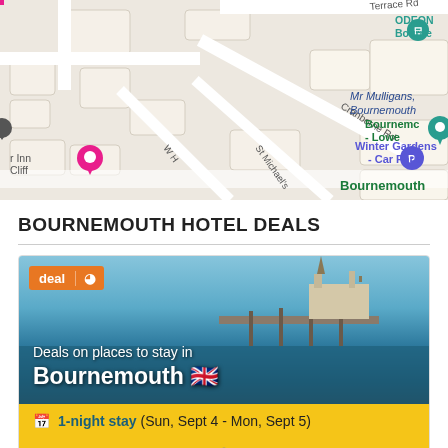[Figure (map): Street map of Bournemouth area showing roads including Terrace Rd, Cranborne Rd, St Michael's road, W H road, with location markers for Mr Mulligans Bournemouth, ODEON Bournemouth, Winter Gardens Car Park, Bournemouth Lower, and a Premier Inn Cliff hotel pin.]
BOURNEMOUTH HOTEL DEALS
[Figure (screenshot): Hotel deals card showing a deal badge with orange background, aerial photo of Bournemouth pier and seafront, text reading 'Deals on places to stay in Bournemouth' with UK flag emoji, yellow bar with calendar icon and '1-night stay (Sun, Sept 4 - Mon, Sept 5)', loading spinner, and blue 'See all deals' button.]